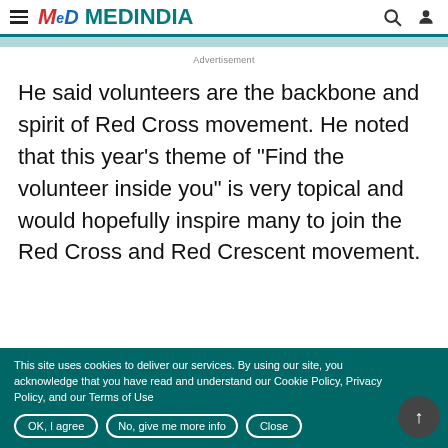MEDINDIA
Advertisement
He said volunteers are the backbone and spirit of Red Cross movement. He noted that this year's theme of "Find the volunteer inside you" is very topical and would hopefully inspire many to join the Red Cross and Red Crescent movement.
This site uses cookies to deliver our services. By using our site, you acknowledge that you have read and understand our Cookie Policy, Privacy Policy, and our Terms of Use